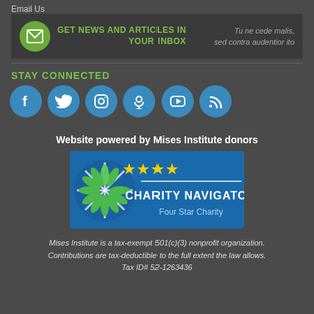Email Us
GET NEWS AND ARTICLES IN YOUR INBOX
Tu ne cede malis, sed contra audentior ito
STAY CONNECTED
[Figure (illustration): Row of six circular social media icons: Facebook, Twitter, Instagram, Podcast, YouTube, RSS]
Website powered by Mises Institute donors
[Figure (logo): Charity Navigator Four Star Charity badge with blue background, green/white starburst logo, four yellow stars, and text CHARITY NAVIGATOR Four Star Charity]
Mises Institute is a tax-exempt 501(c)(3) nonprofit organization. Contributions are tax-deductible to the full extent the law allows. Tax ID# 52-1263436